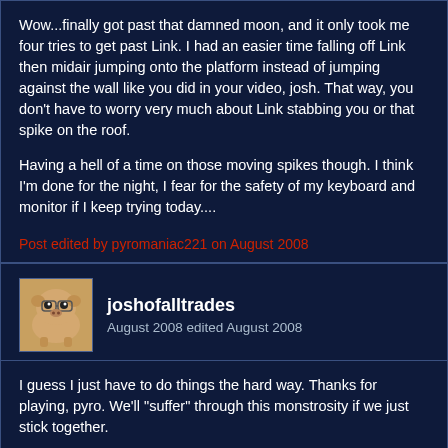Wow...finally got past that damned moon, and it only took me four tries to get past Link. I had an easier time falling off Link then midair jumping onto the platform instead of jumping against the wall like you did in your video, josh. That way, you don't have to worry very much about Link stabbing you or that spike on the roof.

Having a hell of a time on those moving spikes though. I think I'm done for the night, I fear for the safety of my keyboard and monitor if I keep trying today....
Post edited by pyromaniac221 on August 2008
joshofalltrades
August 2008 edited August 2008
I guess I just have to do things the hard way. Thanks for playing, pyro. We'll "suffer" through this monstrosity if we just stick together.

As for those spikes, you just have to practice. I didn't sound as